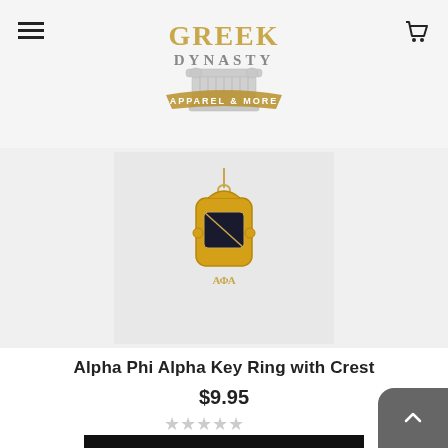Greek Dynasty — Apparel & More
[Figure (photo): Alpha Phi Alpha key ring pendant with gold crest charm on a chain, shown against a light grey background]
Alpha Phi Alpha Key Ring with Crest
$9.95
[Figure (other): Five empty star rating icons (no stars filled)]
ADD TO CART